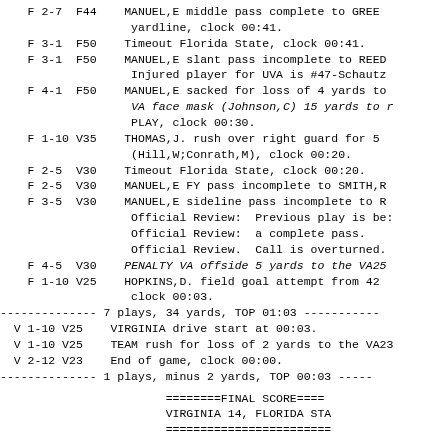F 2-7  F44    MANUEL,E middle pass complete to GREE
               yardline, clock 00:41.
F 3-1  F50    Timeout Florida State, clock 00:41.
F 3-1  F50    MANUEL,E slant pass incomplete to REED
               Injured player for UVA is #47-Schautz
F 4-1  F50    MANUEL,E sacked for loss of 4 yards to
               VA face mask (Johnson,C) 15 yards to r
               PLAY, clock 00:30.
F 1-10 V35    THOMAS,J. rush over right guard for 5
               (Hill,W;Conrath,M), clock 00:20.
F 2-5  V30    Timeout Florida State, clock 00:20.
F 2-5  V30    MANUEL,E FY pass incomplete to SMITH,R
F 3-5  V30    MANUEL,E sideline pass incomplete to R
               Official Review:  Previous play is be:
               Official Review:  a complete pass.
               Official Review.  Call is overturned.
F 4-5  V30    PENALTY VA offside 5 yards to the VA25
F 1-10 V25    HOPKINS,D. field goal attempt from 42
               clock 00:03.
-------------- 7 plays, 34 yards, TOP 01:03 -----------
V 1-10 V25    VIRGINIA drive start at 00:03.
V 1-10 V25    TEAM rush for loss of 2 yards to the VA23
V 2-12 V23    End of game, clock 00:00.
-------------- 1 plays, minus 2 yards, TOP 00:03 -----
========FINAL SCORE====
VIRGINIA 14, FLORIDA STA
========================